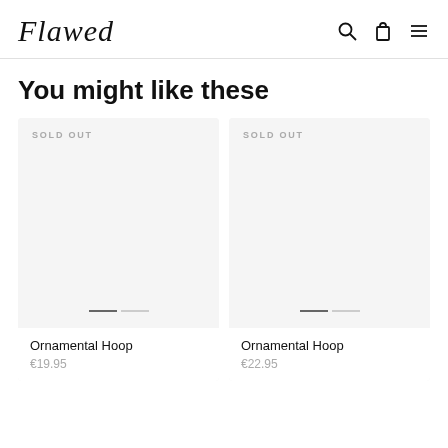Flawed
You might like these
[Figure (screenshot): Product card for Ornamental Hoop, sold out, price €19.95]
[Figure (screenshot): Product card for Ornamental Hoop, sold out, price €22.95]